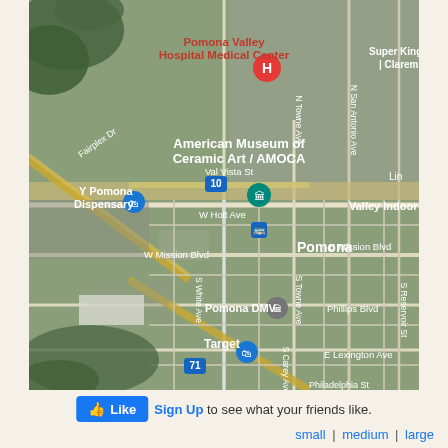[Figure (map): Aerial/satellite map of Pomona, California area showing landmarks including Pomona Valley Hospital Medical Center, American Museum of Ceramic Art / AMOCA, Valley Indoor Swap, Pomona DMV, Target, Fairplex Dr, Val Vista St, W Holt Ave, W Mission Blvd, E Mission Blvd, Phillips Blvd, E Lexington Ave, N Towne Ave, S Towne Ave, N San Antonio Ave, S White Ave, S Carey Ave, S Reservoir St, highways 10 and 71, and various other streets and points of interest.]
Like  Sign Up to see what your friends like.
small | medium | large